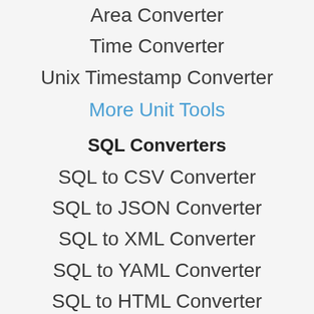Area Converter
Time Converter
Unix Timestamp Converter
More Unit Tools
SQL Converters
SQL to CSV Converter
SQL to JSON Converter
SQL to XML Converter
SQL to YAML Converter
SQL to HTML Converter
Encode and Decode